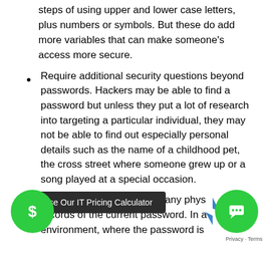steps of using upper and lower case letters, plus numbers or symbols. But these do add more variables that can make someone's access more secure.
Require additional security questions beyond passwords. Hackers may be able to find a password but unless they put a lot of research into targeting a particular individual, they may not be able to find out especially personal details such as the name of a childhood pet, the cross street where someone grew up or a song played at a special occasion.
Require employees to hide any physical records of the current password. In a environment, where the password is